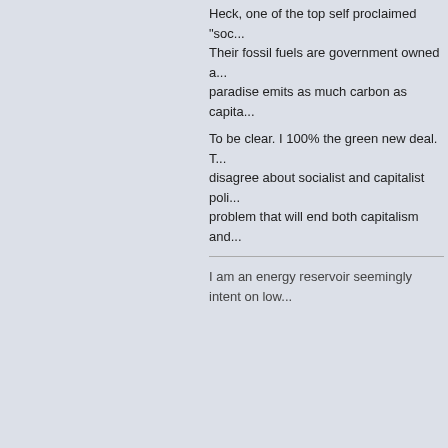Their fossil fuels are government owned and paradise emits as much carbon as capita...
To be clear. I 100% the green new deal. T... disagree about socialist and capitalist poli... problem that will end both capitalism and...
I am an energy reservoir seemingly intent on low...
Neven
Administrator
First-year ice
[Figure (continuous-plot): User avatar image showing a line chart with a sharp peak, appears to be arctic ice or climate data]
Posts: 8231
Liked: 1220
Likes Given: 584
Re: US Green New Deal
« Reply #7 on: February 11, 2019, 05:01:
This isn't about socialism and capitalism,
Quote from: Archimid on February 11, 2019, 12:
As you can see, nations with the highest inequal... is a good example of low inequality but high emis... per capital.

Heck, one of the top self proclaimed "socialist" c... government owned and "for the people". The fos... Texas oil.